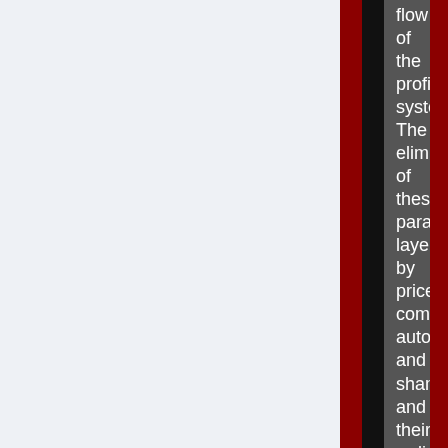flow of the profit system. The elimination of these parasitic layers by price competition, automation and shaming, and their redirection to actually useful production